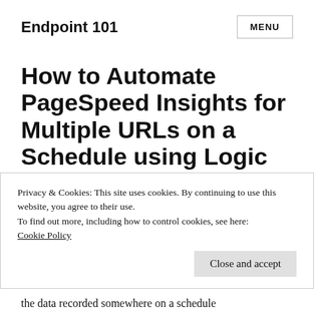Endpoint 101
How to Automate PageSpeed Insights for Multiple URLs on a Schedule using Logic Apps Ti...
Privacy & Cookies: This site uses cookies. By continuing to use this website, you agree to their use.
To find out more, including how to control cookies, see here:
Cookie Policy
Close and accept
the data recorded somewhere on a schedule